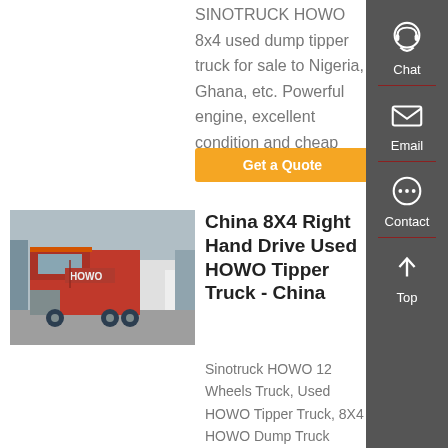SINOTRUCK HOWO 8x4 used dump tipper truck for sale to Nigeria, Ghana, etc. Powerful engine, excellent condition and cheap price.
Get a Quote
[Figure (photo): Red HOWO dump tipper truck parked in a lot with other white trucks]
China 8X4 Right Hand Drive Used HOWO Tipper Truck - China
Sinotruck HOWO 12 Wheels Truck, Used HOWO Tipper Truck, 8X4 HOWO Dump Truck manufacturer / supplier in China